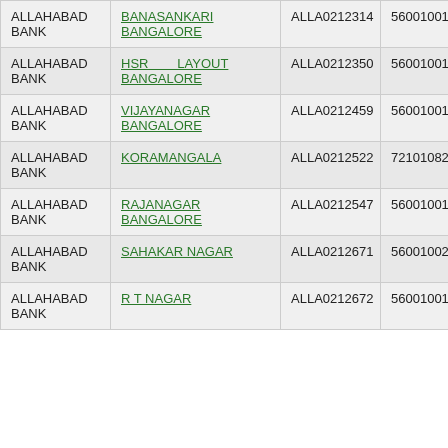| Bank | Branch | IFSC | PIN |
| --- | --- | --- | --- |
| ALLAHABAD BANK | BANASANKARI BANGALORE | ALLA0212314 | 560010012 |
| ALLAHABAD BANK | HSR LAYOUT BANGALORE | ALLA0212350 | 560010013 |
| ALLAHABAD BANK | VIJAYANAGAR BANGALORE | ALLA0212459 | 560010016 |
| ALLAHABAD BANK | KORAMANGALA | ALLA0212522 | 721010822 |
| ALLAHABAD BANK | RAJANAGAR BANGALORE | ALLA0212547 | 560010018 |
| ALLAHABAD BANK | SAHAKAR NAGAR | ALLA0212671 | 560010021 |
| ALLAHABAD BANK | R T NAGAR | ALLA0212672 | 560010019 |